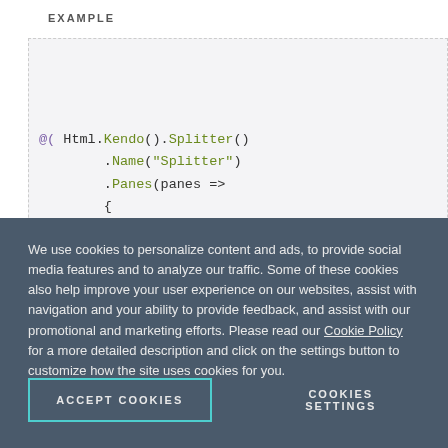EXAMPLE
[Figure (screenshot): Code block showing C# Kendo UI Splitter HTML helper syntax on a light grey dashed-border background]
We use cookies to personalize content and ads, to provide social media features and to analyze our traffic. Some of these cookies also help improve your user experience on our websites, assist with navigation and your ability to provide feedback, and assist with our promotional and marketing efforts. Please read our Cookie Policy for a more detailed description and click on the settings button to customize how the site uses cookies for you.
ACCEPT COOKIES
COOKIES SETTINGS